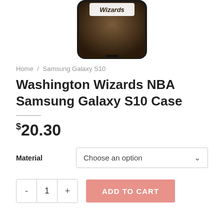[Figure (photo): Partial view of a Washington Wizards NBA Samsung Galaxy S10 phone case showing a brown basketball texture background with the Wizards logo at the top.]
Home / Samsung Galaxy S10
Washington Wizards NBA Samsung Galaxy S10 Case
$20.30
Material  Choose an option
- 1 +  ADD TO CART